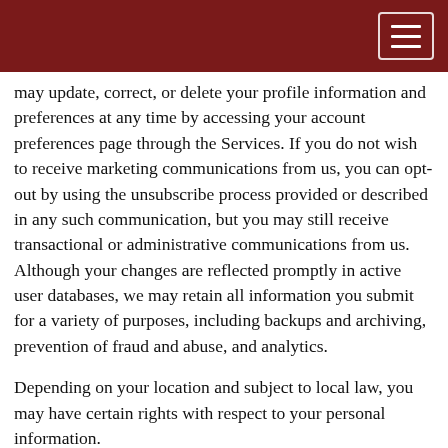may update, correct, or delete your profile information and preferences at any time by accessing your account preferences page through the Services. If you do not wish to receive marketing communications from us, you can opt-out by using the unsubscribe process provided or described in any such communication, but you may still receive transactional or administrative communications from us. Although your changes are reflected promptly in active user databases, we may retain all information you submit for a variety of purposes, including backups and archiving, prevention of fraud and abuse, and analytics.
Depending on your location and subject to local law, you may have certain rights with respect to your personal information.
To make a request related to your personal information or otherwise exercise any rights you may have under applicable law, you may contact us using the contact information provided below. In order to fulfill your request, we may require additional information from you. We will respond to requests,